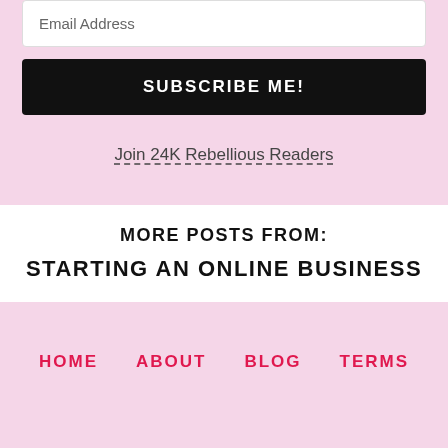Email Address
SUBSCRIBE ME!
Join 24K Rebellious Readers
MORE POSTS FROM:
STARTING AN ONLINE BUSINESS
HOME   ABOUT   BLOG   TERMS